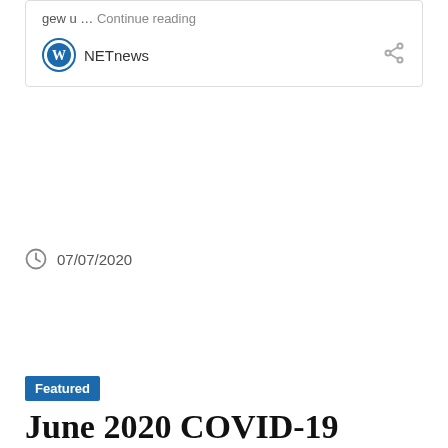gew u … Continue reading
NETnews
07/07/2020
Featured
June 2020 COVID-19